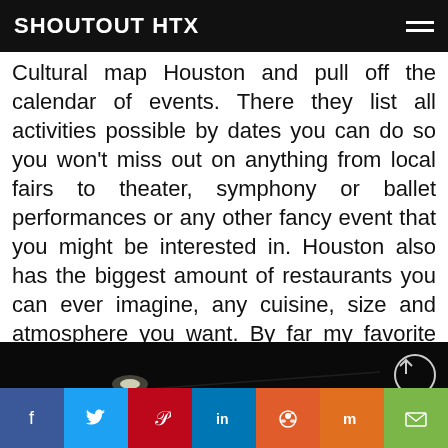SHOUTOUT HTX
Cultural map Houston and pull off the calendar of events. There they list all activities possible by dates you can do so you won't miss out on anything from local fairs to theater, symphony or ballet performances or any other fancy event that you might be interested in. Houston also has the biggest amount of restaurants you can ever imagine, any cuisine, size and atmosphere you want. By far my favorite place where my husband and I keep coming back is French restaurant Etoile in uptown. Check it out!
[Figure (photo): Dark photograph, appears to show a dimly lit interior restaurant or event space with small bright light reflections/bokeh effects against a dark background.]
Social share bar: Facebook, Twitter, Pinterest, LinkedIn, Reddit, Mix, Email